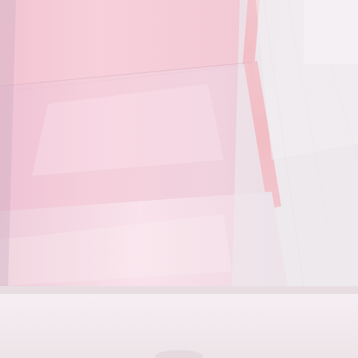[Figure (photo): Close-up photograph of layered pink and white tulle or organza fabric with coral/neon pink binding edges. The fabric layers are stacked diagonally, showing smooth pink satin-like material edged with bright coral trim, against a soft white/grey background.]
[Figure (photo): Partial bottom section showing a light pinkish-white background, likely the lower portion of another product image partially visible.]